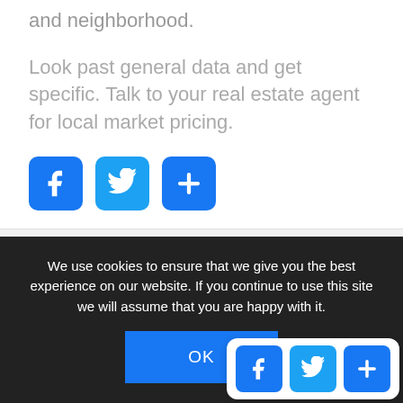and neighborhood.
Look past general data and get specific. Talk to your real estate agent for local market pricing.
[Figure (other): Social share buttons: Facebook, Twitter, Share (plus icon)]
Posted in: Just For Fun, Statistics
Tagged: Altos Research, Forbes, ZIP Codes
We use cookies to ensure that we give you the best experience on our website. If you continue to use this site we will assume that you are happy with it.
[Figure (other): OK button for cookie consent]
[Figure (other): Bottom-right floating social share buttons: Facebook, Twitter, Share]